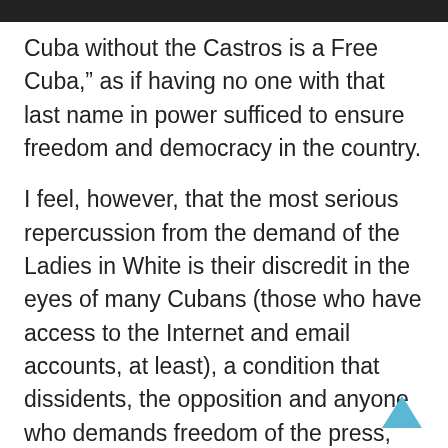Cuba without the Castros is a Free Cuba,” as if having no one with that last name in power sufficed to ensure freedom and democracy in the country.
I feel, however, that the most serious repercussion from the demand of the Ladies in White is their discredit in the eyes of many Cubans (those who have access to the Internet and email accounts, at least), a condition that dissidents, the opposition and anyone who demands freedom of the press, freedom of expression, freedom of association and